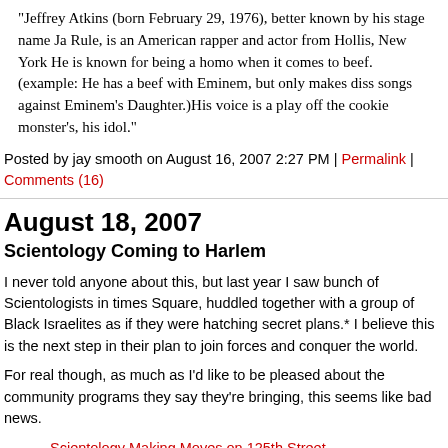"Jeffrey Atkins (born February 29, 1976), better known by his stage name Ja Rule, is an American rapper and actor from Hollis, New York He is known for being a homo when it comes to beef. (example: He has a beef with Eminem, but only makes diss songs against Eminem's Daughter.)His voice is a play off the cookie monster's, his idol."
Posted by jay smooth on August 16, 2007 2:27 PM | Permalink | Comments (16)
August 18, 2007
Scientology Coming to Harlem
I never told anyone about this, but last year I saw bunch of Scientologists in times Square, huddled together with a group of Black Israelites as if they were hatching secret plans.* I believe this is the next step in their plan to join forces and conquer the world.
For real though, as much as I'd like to be pleased about the community programs they say they're bringing, this seems like bad news.
Scientology Making Moves on 125th Street
The Church of Scientology, known for its celebrity devotees, is making a big push to expand its empire along